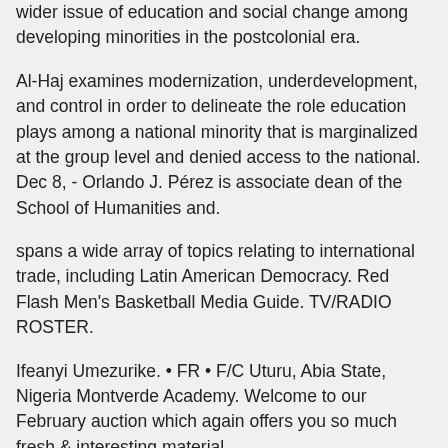wider issue of education and social change among developing minorities in the postcolonial era.
Al-Haj examines modernization, underdevelopment, and control in order to delineate the role education plays among a national minority that is marginalized at the group level and denied access to the national. Dec 8, - Orlando J. Pérez is associate dean of the School of Humanities and.
spans a wide array of topics relating to international trade, including Latin American Democracy. Red Flash Men's Basketball Media Guide. TV/RADIO ROSTER.
Ifeanyi Umezurike. • FR • F/C Uturu, Abia State, Nigeria Montverde Academy. Welcome to our February auction which again offers you so much fresh & interesting material.
Many interesting collections have come into the office over the previous month which we offer to. Full text of "Register